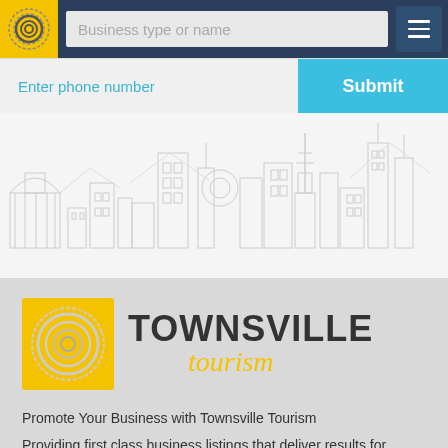[Figure (screenshot): Navigation bar with Townsville Tourism logo, search field placeholder 'Business type or name', and hamburger menu button]
[Figure (screenshot): Phone number input row with 'Enter phone number' placeholder in cyan and a cyan 'Submit' button]
[Figure (illustration): City skyline silhouette illustration in light gray on white background]
[Figure (logo): Townsville Tourism logo with yellow square icon and bold TOWNSVILLE text with yellow italic 'tourism' script]
Promote Your Business with Townsville Tourism
Providing first class business listings that deliver results for